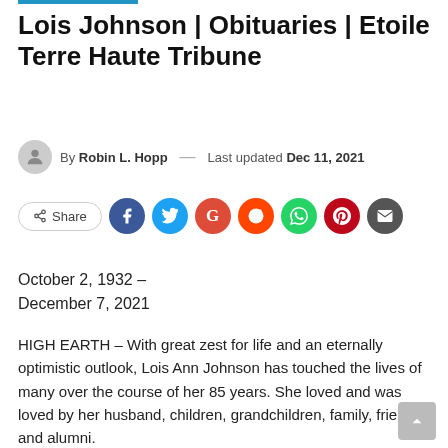Lois Johnson | Obituaries | Etoile Terre Haute Tribune
By Robin L. Hopp — Last updated Dec 11, 2021
[Figure (infographic): Share buttons row with Share label and social media icons: Facebook, Twitter, Google, Reddit, WhatsApp, Pinterest, Email]
October 2, 1932 –
December 7, 2021
HIGH EARTH – With great zest for life and an eternally optimistic outlook, Lois Ann Johnson has touched the lives of many over the course of her 85 years. She loved and was loved by her husband, children, grandchildren, family, friends and alumni.
She died on December 7, 2021 from a brief illness.